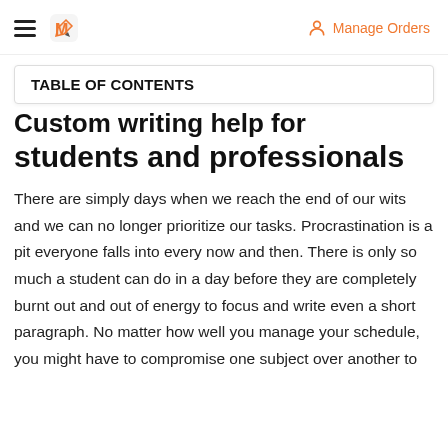TABLE OF CONTENTS | Manage Orders
Custom writing help for students and professionals
There are simply days when we reach the end of our wits and we can no longer prioritize our tasks. Procrastination is a pit everyone falls into every now and then. There is only so much a student can do in a day before they are completely burnt out and out of energy to focus and write even a short paragraph. No matter how well you manage your schedule, you might have to compromise one subject over another to